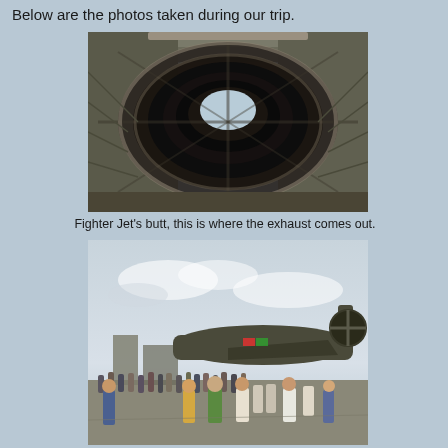Below are the photos taken during our trip.
[Figure (photo): Close-up view looking into the exhaust nozzle of a fighter jet engine, showing circular metallic vanes and heat-darkened interior.]
Fighter Jet's butt, this is where the exhaust comes out.
[Figure (photo): Crowd of people at an airshow on a tarmac with a large military transport aircraft (C-130 type) visible in the background, overcast sky.]